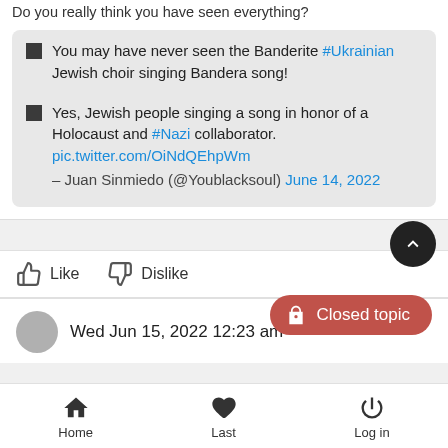Do you really think you have seen everything?
You may have never seen the Banderite #Ukrainian Jewish choir singing Bandera song!
Yes, Jewish people singing a song in honor of a Holocaust and #Nazi collaborator. pic.twitter.com/OiNdQEhpWm – Juan Sinmiedo (@Youblacksoul) June 14, 2022
Like   Dislike
Closed topic
Wed Jun 15, 2022 12:23 am
Home   Last   Log in